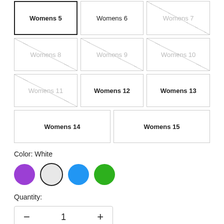Womens 5 (selected), Womens 6, Womens 7, Womens 8, Womens 9, Womens 10, Womens 11, Womens 12, Womens 13, Womens 14, Womens 15
Color: White
[Figure (other): Four color swatches: purple, white (selected with border), blue, green]
Quantity:
[Figure (other): Quantity stepper control showing minus button, value 1, plus button in a rounded box]
Only 4 left! 9 people recently purchased this and 5 have it in